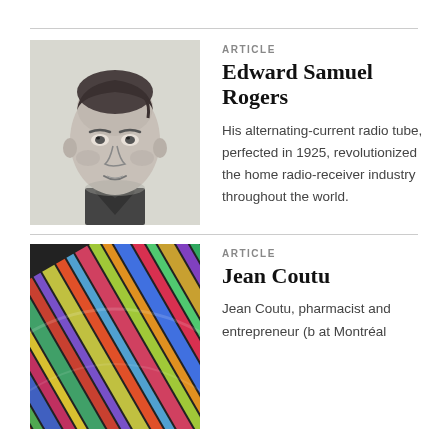[Figure (illustration): Black and white pencil sketch portrait of Edward Samuel Rogers, a man in formal attire]
ARTICLE
Edward Samuel Rogers
His alternating-current radio tube, perfected in 1925, revolutionized the home radio-receiver industry throughout the world.
[Figure (photo): Colorful photo of vinyl records or colored stripes, close-up view with vivid colors]
ARTICLE
Jean Coutu
Jean Coutu, pharmacist and entrepreneur (b at Montréal